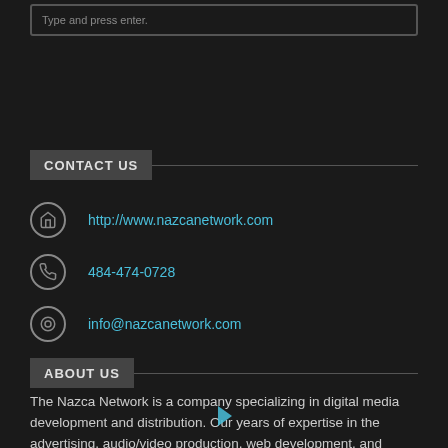Type and press enter.
CONTACT US
http://www.nazcanetwork.com
484-474-0728
info@nazcanetwork.com
ABOUT US
The Nazca Network is a company specializing in digital media development and distribution. Our years of expertise in the advertising, audio/video production, web development, and broadcast fields have given us the benefit of providing great